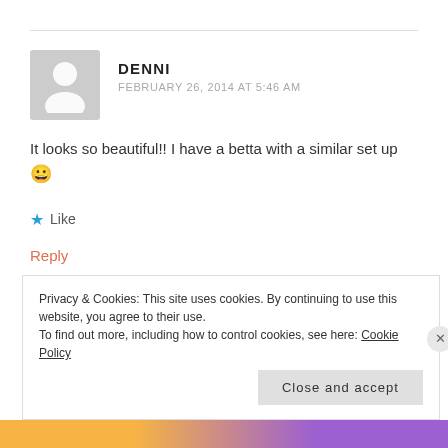DENNI
FEBRUARY 26, 2014 AT 5:46 AM
It looks so beautiful!! I have a betta with a similar set up 😀
Like
Reply
Privacy & Cookies: This site uses cookies. By continuing to use this website, you agree to their use.
To find out more, including how to control cookies, see here: Cookie Policy
Close and accept